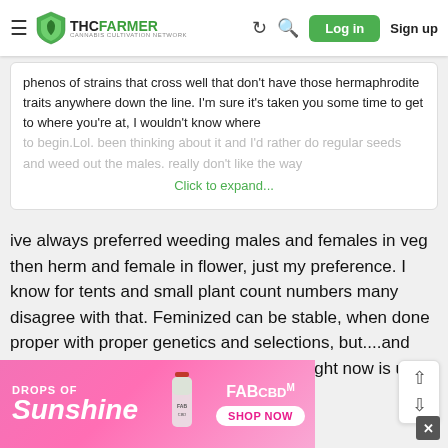THC FARMER - Cannabis Cultivation Network - Log in / Sign up
phenos of strains that cross well that don't have those hermaphrodite traits anywhere down the line. I'm sure it's taken you some time to get to where you're at, I wouldn't know where to begin.Lol. been thinking about it and I'd rather do regular seeds and weed out the males. really don't like the way
Click to expand...
ive always preferred weeding males and females in veg then herm and female in flower, just my preference. I know for tents and small plant count numbers many disagree with that. Feminized can be stable, when done proper with proper genetics and selections, but....and this is a huge but.....90% of the market right now is using
[Figure (screenshot): DROPS OF Sunshine - FABCBD shop now advertisement banner]
DROPS OF Sunshine FABCBD SHOP NOW